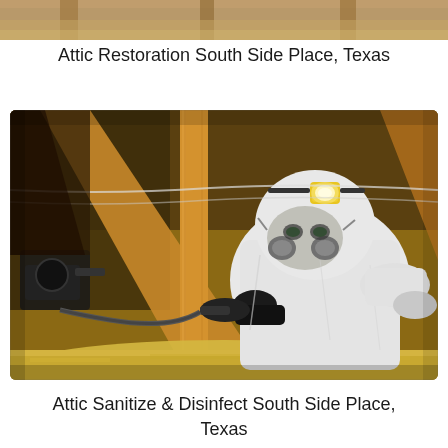[Figure (photo): Partial view of attic space from top of page, showing wooden beams and insulation material]
Attic Restoration South Side Place, Texas
[Figure (photo): A worker in a white hazmat/Tyvek suit with a respirator mask and yellow headlamp working inside an attic space, crouching among wooden beams and yellow fiberglass insulation. The worker is holding equipment and appears to be sanitizing or inspecting the attic.]
Attic Sanitize & Disinfect South Side Place, Texas